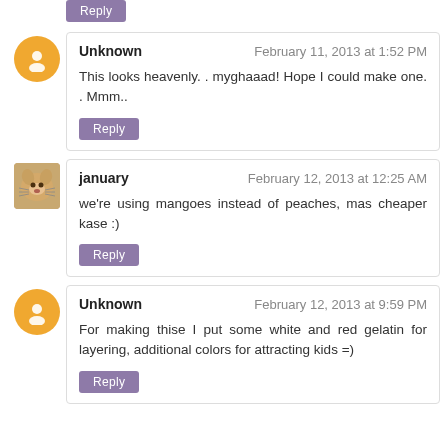Reply
Unknown — February 11, 2013 at 1:52 PM
This looks heavenly. . myghaaad! Hope I could make one. . Mmm..
Reply
january — February 12, 2013 at 12:25 AM
we're using mangoes instead of peaches, mas cheaper kase :)
Reply
Unknown — February 12, 2013 at 9:59 PM
For making thise I put some white and red gelatin for layering, additional colors for attracting kids =)
Reply